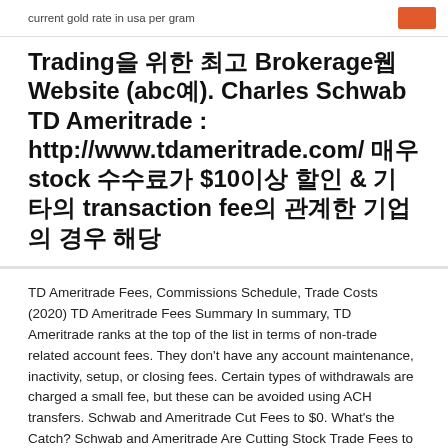current gold rate in usa per gram
Trading을 위한 최고 Brokerage웹 Website (abc예). Charles Schwab TD Ameritrade : http://www.tdameritrade.com/ 매우 stock 수수료가 $10이상 할인 & 기타의 transaction fee의 관계한 기업의 경우 해당
TD Ameritrade Fees, Commissions Schedule, Trade Costs (2020) TD Ameritrade Fees Summary In summary, TD Ameritrade ranks at the top of the list in terms of non-trade related account fees. They don't have any account maintenance, inactivity, setup, or closing fees. Certain types of withdrawals are charged a small fee, but these can be avoided using ACH transfers. Schwab and Ameritrade Cut Fees to $0. What's the Catch? Schwab and Ameritrade Are Cutting Stock Trade Fees to $0. and why that's a sustainable gain for brokerage consumers who need not pay